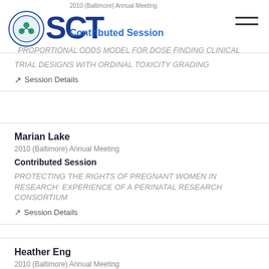2010 (Baltimore) Annual Meeting
Contributed Session
PROPORTIONAL ODDS MODEL FOR DOSE FINDING CLINICAL TRIAL DESIGNS WITH ORDINAL TOXICITY GRADING
Session Details
Marian Lake
2010 (Baltimore) Annual Meeting
Contributed Session
PROTECTING THE RIGHTS OF PREGNANT WOMEN IN RESEARCH: EXPERIENCE OF A PERINATAL RESEARCH CONSORTIUM
Session Details
Heather Eng
2010 (Baltimore) Annual Meeting
Contributed Session
Providing Integrated Access to Clinical Trials Data from Multiple Systems
Session Details